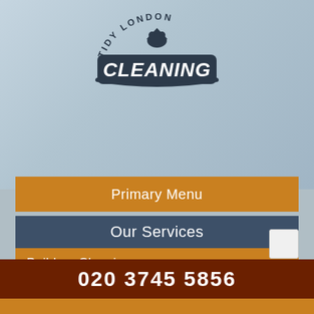[Figure (logo): Tidy London Cleaning logo with arc text and banner]
Primary Menu
Our Services
Builders Cleaning
Carpet Cleaning
Domestic Cleaning
End of Tenancy Cleaning
Flat Cleaning
020 3745 5856